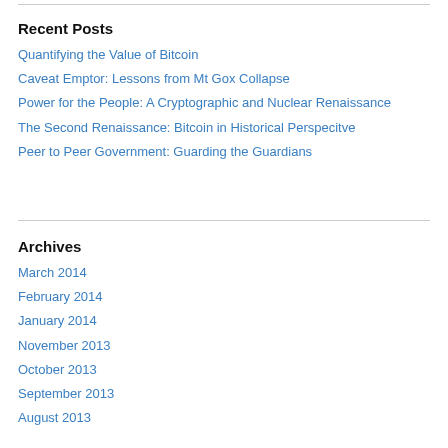Recent Posts
Quantifying the Value of Bitcoin
Caveat Emptor: Lessons from Mt Gox Collapse
Power for the People: A Cryptographic and Nuclear Renaissance
The Second Renaissance: Bitcoin in Historical Perspecitve
Peer to Peer Government: Guarding the Guardians
Archives
March 2014
February 2014
January 2014
November 2013
October 2013
September 2013
August 2013